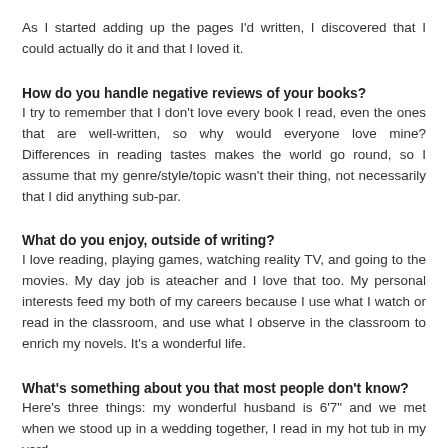As I started adding up the pages I'd written, I discovered that I could actually do it and that I loved it.
How do you handle negative reviews of your books?
I try to remember that I don't love every book I read, even the ones that are well-written, so why would everyone love mine? Differences in reading tastes makes the world go round, so I assume that my genre/style/topic wasn't their thing, not necessarily that I did anything sub-par.
What do you enjoy, outside of writing?
I love reading, playing games, watching reality TV, and going to the movies. My day job is ateacher and I love that too. My personal interests feed my both of my careers because I use what I watch or read in the classroom, and use what I observe in the classroom to enrich my novels. It's a wonderful life.
What's something about you that most people don't know?
Here's three things: my wonderful husband is 6'7" and we met when we stood up in a wedding together, I read in my hot tub in my yard